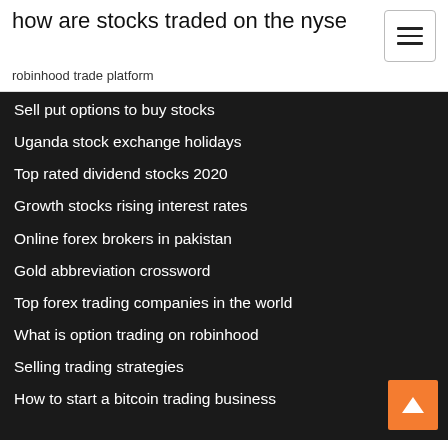how are stocks traded on the nyse
robinhood trade platform
Sell put options to buy stocks
Uganda stock exchange holidays
Top rated dividend stocks 2020
Growth stocks rising interest rates
Online forex brokers in pakistan
Gold abbreviation crossword
Top forex trading companies in the world
What is option trading on robinhood
Selling trading strategies
How to start a bitcoin trading business